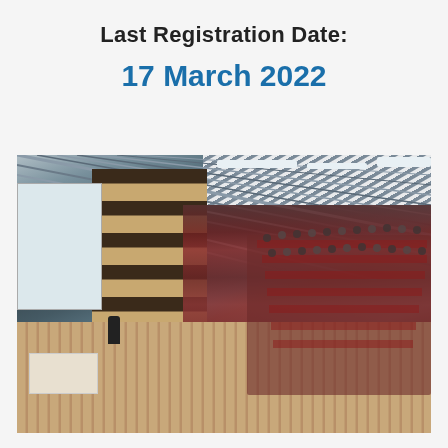Last Registration Date:
17 March 2022
[Figure (photo): A lecture hall with a speaker presenting at the front. The auditorium has red seating filled with an audience, a large projection screen on the left wall, decorative wood-and-dark panel walls, and a striped wooden floor. Modern ceiling with fluorescent lighting strips.]